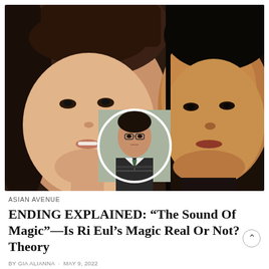[Figure (photo): Split image of two actors from the Korean drama 'The Sound of Magic'. Left side shows a smiling young woman with bangs. Right side shows a man in dark clothing with a slight smile. A circular inset in the center shows a young male actor in a school uniform with glasses.]
ASIAN AVENUE
ENDING EXPLAINED: “The Sound Of Magic”—Is Ri Eul’s Magic Real Or Not? Theory
BY GIA ALIANNA · MAY 9, 2022